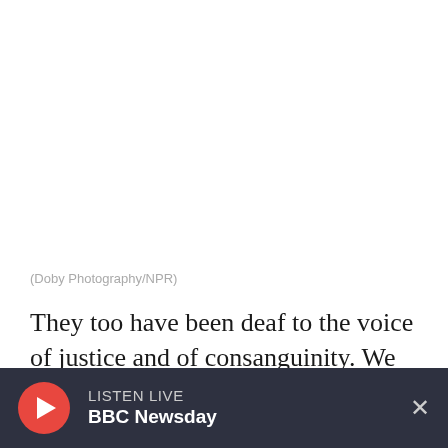[Figure (photo): White/blank photo area at top of page]
(Doby Photography/NPR)
They too have been deaf to the voice of justice and of consanguinity. We must, therefore, acquiesce in the necessity, which denounces our
LISTEN LIVE BBC Newsday